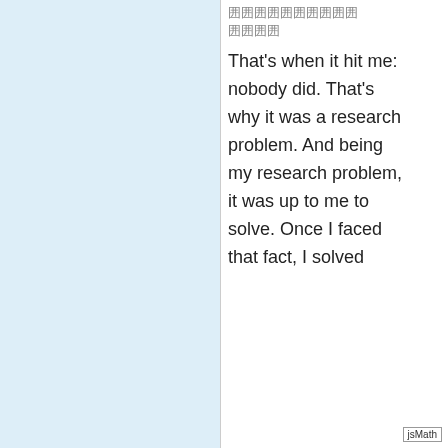[Figure (other): Light blue background panel on the left side of the page]
囲囲囲囲囲囲囲囲囲囲 囲囲囲囲
That's when it hit me: nobody did. That's why it was a research problem. And being my research problem, it was up to me to solve. Once I faced that fact, I solved